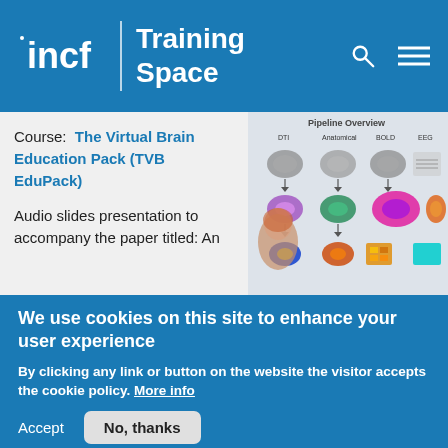incf | Training Space
Course:  The Virtual Brain Education Pack (TVB EduPack)
Audio slides presentation to accompany the paper titled: An
[Figure (screenshot): Screenshot of a pipeline overview diagram showing brain imaging data types: DTI, Anatomical, BOLD, EEG, with a photo of a woman with a transparent brain overlay]
We use cookies on this site to enhance your user experience
By clicking any link or button on the website the visitor accepts the cookie policy. More info
Accept
No, thanks